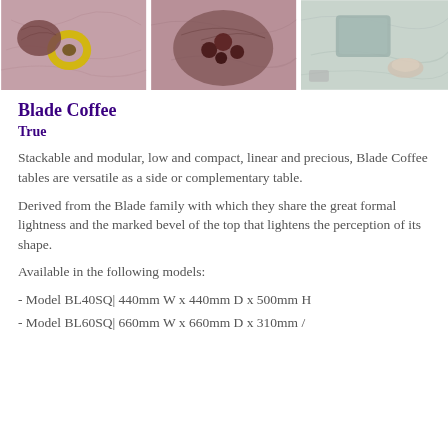[Figure (photo): Three product lifestyle photos showing marble/stone coffee tables with decorative items: left photo shows a round pinkish marble top with avocado and items, center shows dark round marble top with dark berries/fruits, right shows greenish marble top with items on it.]
Blade Coffee
True
Stackable and modular, low and compact, linear and precious, Blade Coffee tables are versatile as a side or complementary table.
Derived from the Blade family with which they share the great formal lightness and the marked bevel of the top that lightens the perception of its shape.
Available in the following models:
- Model BL40SQ| 440mm W x 440mm D x 500mm H
- Model BL60SQ| 660mm W x 660mm D x 310mm / 370mm / 430mm H